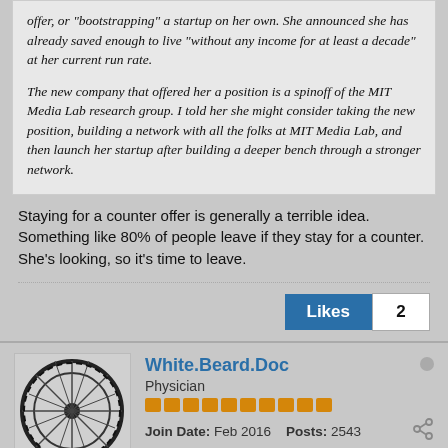offer, or 'bootstrapping' a startup on her own. She announced she has already saved enough to live "without any income for at least a decade" at her current run rate.

The new company that offered her a position is a spinoff of the MIT Media Lab research group. I told her she might consider taking the new position, building a network with all the folks at MIT Media Lab, and then launch her startup after building a deeper bench through a stronger network.
Staying for a counter offer is generally a terrible idea. Something like 80% of people leave if they stay for a counter. She's looking, so it's time to leave.
White.Beard.Doc
Physician
Join Date: Feb 2016   Posts: 2543